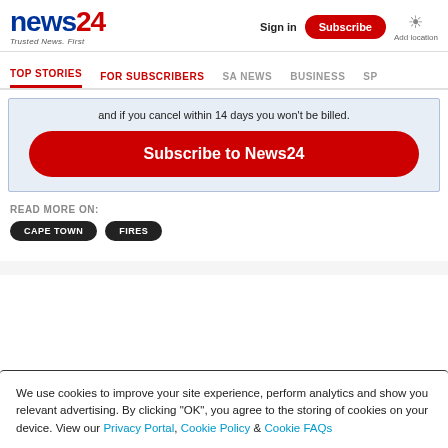news24 Trusted News. First | Sign in | Subscribe | Add location
TOP STORIES | FOR SUBSCRIBERS | SA NEWS | BUSINESS | SP
and if you cancel within 14 days you won't be billed.
Subscribe to News24
READ MORE ON:
CAPE TOWN
FIRES
We use cookies to improve your site experience, perform analytics and show you relevant advertising. By clicking "OK", you agree to the storing of cookies on your device. View our Privacy Portal, Cookie Policy & Cookie FAQs